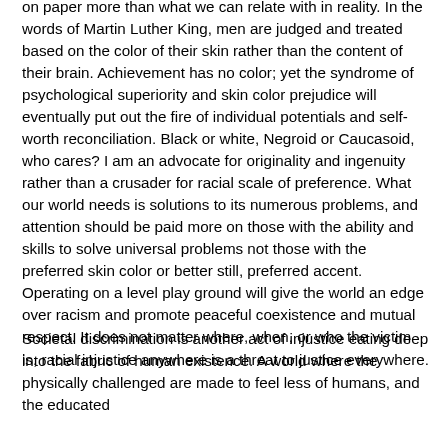on paper more than what we can relate with in reality. In the words of Martin Luther King, men are judged and treated based on the color of their skin rather than the content of their brain. Achievement has no color; yet the syndrome of psychological superiority and skin color prejudice will eventually put out the fire of individual potentials and self-worth reconciliation. Black or white, Negroid or Caucasoid, who cares? I am an advocate for originality and ingenuity rather than a crusader for racial scale of preference. What our world needs is solutions to its numerous problems, and attention should be paid more on those with the ability and skills to solve universal problems not those with the preferred skin color or better still, preferred accent. Operating on a level play ground will give the world an edge over racism and promote peaceful coexistence and mutual respect. It does not matter where, when, or who the victim is, racial injustice anywhere is a threat to justice everywhere.
Societal discrimination is another act of injustice eating deep into the fabric of human existence. A world where the physically challenged are made to feel less of humans, and the educated